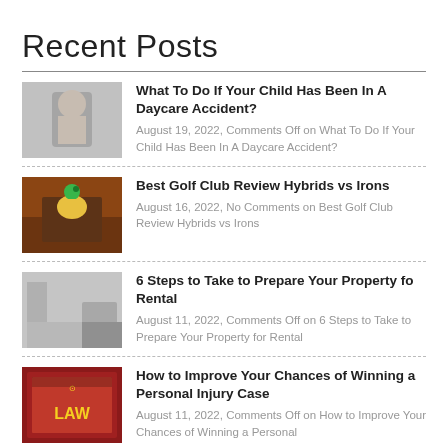Recent Posts
What To Do If Your Child Has Been In A Daycare Accident? | August 19, 2022, Comments Off on What To Do If Your Child Has Been In A Daycare Accident?
Best Golf Club Review Hybrids vs Irons | August 16, 2022, No Comments on Best Golf Club Review Hybrids vs Irons
6 Steps to Take to Prepare Your Property fo Rental | August 11, 2022, Comments Off on 6 Steps to Take to Prepare Your Property for Rental
How to Improve Your Chances of Winning a Personal Injury Case | August 11, 2022, Comments Off on How to Improve Your Chances of Winning a Personal